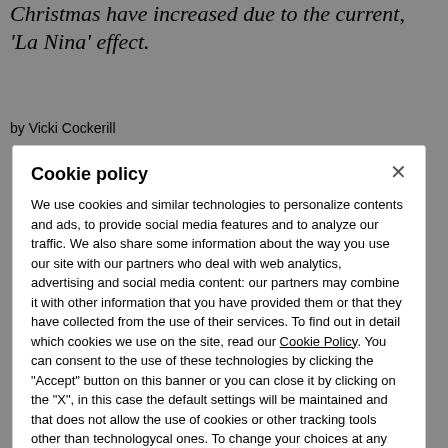Christmas have increased due to the current, 'La Nina' effect.
by Vicki Cockerill
Cookie policy
We use cookies and similar technologies to personalize contents and ads, to provide social media features and to analyze our traffic. We also share some information about the way you use our site with our partners who deal with web analytics, advertising and social media content: our partners may combine it with other information that you have provided them or that they have collected from the use of their services. To find out in detail which cookies we use on the site, read our Cookie Policy. You can consent to the use of these technologies by clicking the "Accept" button on this banner or you can close it by clicking on the "X", in this case the default settings will be maintained and that does not allow the use of cookies or other tracking tools other than technologycal ones. To change your choices at any time, click on “Tracking Management.”
ACCEPT
TRACKERS MANAGEMENT
Show vendors | Show purposes